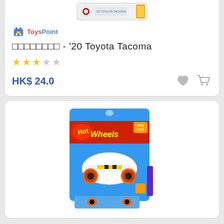[Figure (photo): Hot Wheels toy car in packaging - '20 Toyota Tacoma product image at top of card]
[Figure (logo): ToysPoint brand logo with shopping bag icon and colorful text]
□□□□□□□□ - '20 Toyota Tacoma
★★★☆☆ (3 out of 5 stars rating)
HK$ 24.0
[Figure (photo): Hot Wheels branded toy car in blue packaging showing a race car model, second product listing card]